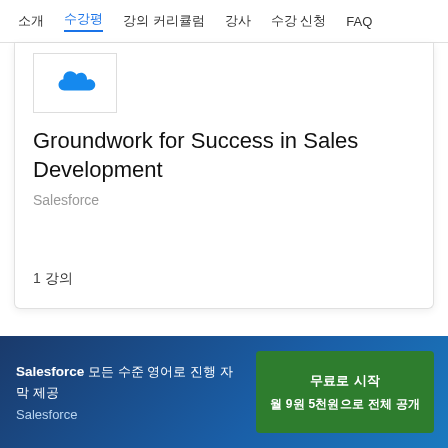소개  수강평  강의 커리큘럼  강사  수강 신청  FAQ
[Figure (logo): Salesforce cloud logo in blue on white background]
Groundwork for Success in Sales Development
Salesforce
1 강의
Salesforce 모든 수준 영어로 진행 자막 제공 Salesforce
무료로 시작
월 9원 5천원으로 전체 공개